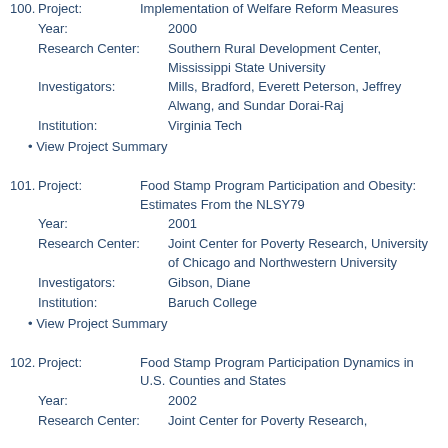100. Project: Implementation of Welfare Reform Measures
Year: 2000
Research Center: Southern Rural Development Center, Mississippi State University
Investigators: Mills, Bradford, Everett Peterson, Jeffrey Alwang, and Sundar Dorai-Raj
Institution: Virginia Tech
• View Project Summary
101. Project: Food Stamp Program Participation and Obesity: Estimates From the NLSY79
Year: 2001
Research Center: Joint Center for Poverty Research, University of Chicago and Northwestern University
Investigators: Gibson, Diane
Institution: Baruch College
• View Project Summary
102. Project: Food Stamp Program Participation Dynamics in U.S. Counties and States
Year: 2002
Research Center: Joint Center for Poverty Research...